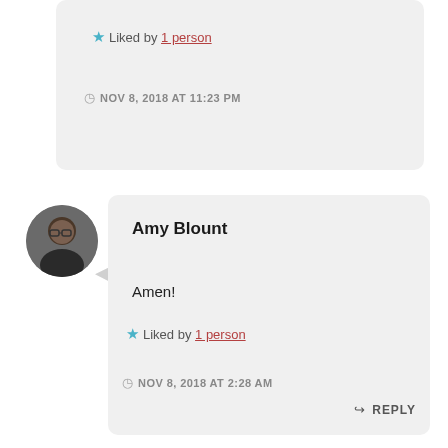Liked by 1 person
NOV 8, 2018 AT 11:23 PM
[Figure (photo): Circular avatar photo of Amy Blount, a woman with glasses]
Amy Blount
Amen!
Liked by 1 person
NOV 8, 2018 AT 2:28 AM
REPLY